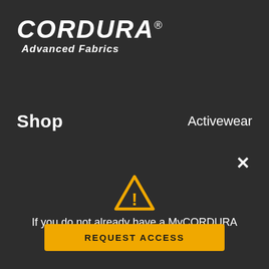[Figure (logo): CORDURA Advanced Fabrics logo in white italic text on dark background]
Shop
Activewear
×
[Figure (illustration): Yellow warning triangle with exclamation mark]
If you do not already have a MyCORDURA account, please click
REQUEST ACCESS